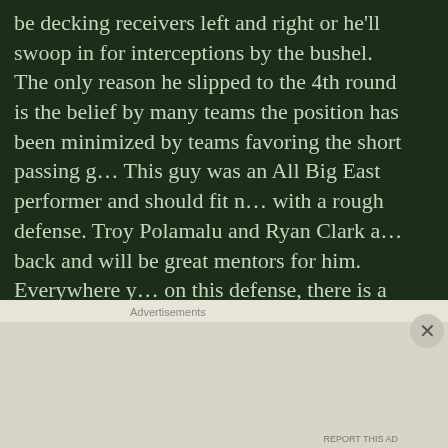be decking receivers left and right or he'll swoop in for interceptions by the bushel. The only reason he slipped to the 4th round is the belief by many teams the position has been minimized by teams favoring the short passing game. This guy was an All Big East performer and should fit nicely with a rough defense. Troy Polamalu and Ryan Clark are back and will be great mentors for him. Everywhere you look on this defense, there is a blue chip player that doesn't need to produce right away. In future years this will benefit the Steelers greatly.

One issue is the advanced age of Polamalu and Clark at 30 and 34 respectively, they have already missed a combined games in the last 3 seasons. Now that Thomas is on th
[Figure (other): Advertisement banner at bottom of page with close button (X circle) and 'Advertisements' label]